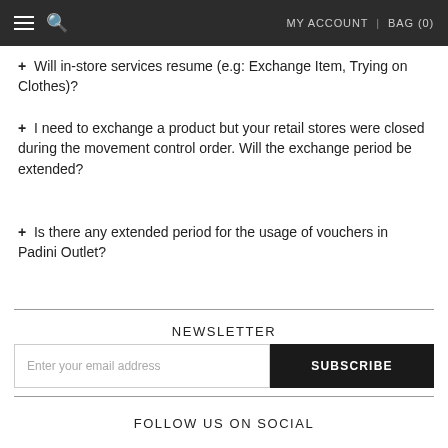MY ACCOUNT | BAG (0)
+ Will in-store services resume (e.g: Exchange Item, Trying on Clothes)?
+ I need to exchange a product but your retail stores were closed during the movement control order. Will the exchange period be extended?
+ Is there any extended period for the usage of vouchers in Padini Outlet?
NEWSLETTER
Enter your email address | SUBSCRIBE
FOLLOW US ON SOCIAL